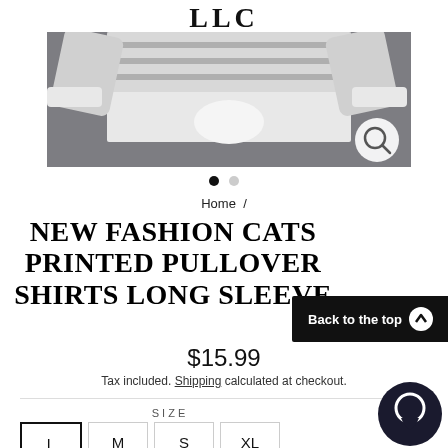LLC
[Figure (photo): A white and patterned pullover shirt with long sleeves laid flat on a grey background, with a magnifying glass icon in the bottom right corner of the image.]
Home /
NEW FASHION CATS PRINTED PULLOVER SHIRTS LONG SLEEVE
$15.99
Tax included. Shipping calculated at checkout.
SIZE
L  M  S  XL